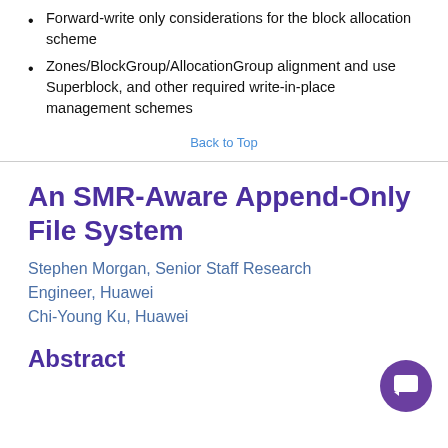Forward-write only considerations for the block allocation scheme
Zones/BlockGroup/AllocationGroup alignment and use Superblock, and other required write-in-place management schemes
Back to Top
An SMR-Aware Append-Only File System
Stephen Morgan, Senior Staff Research Engineer, Huawei
Chi-Young Ku, Huawei
Abstract